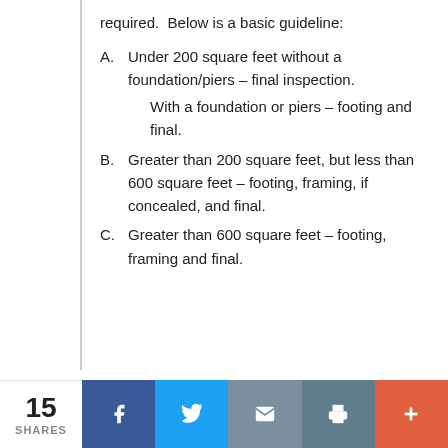required.  Below is a basic guideline:
A.	Under 200 square feet without a foundation/piers – final inspection.
	With a foundation or piers – footing and final.
B.	Greater than 200 square feet, but less than 600 square feet – footing, framing, if concealed, and final.
C.	Greater than 600 square feet – footing, framing and final.
15 SHARES | Facebook | Twitter | Email | Print | More